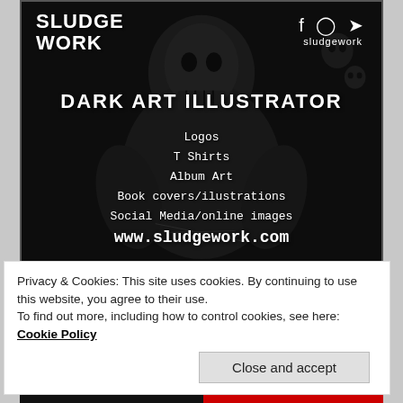[Figure (illustration): Dark art illustrator advertisement with black background, skull/monster illustration behind text. Sludgework logo top left, social media icons (Facebook, Instagram, Twitter) top right with handle 'sludgework'. Center text: DARK ART ILLUSTRATOR, Logos, T Shirts, Album Art, Book covers/ilustrations, Social Media/online images, www.sludgework.com]
Privacy & Cookies: This site uses cookies. By continuing to use this website, you agree to their use.
To find out more, including how to control cookies, see here: Cookie Policy
Close and accept
[Figure (photo): Bottom strip showing partial image with DON'T BE text in red on dark background]